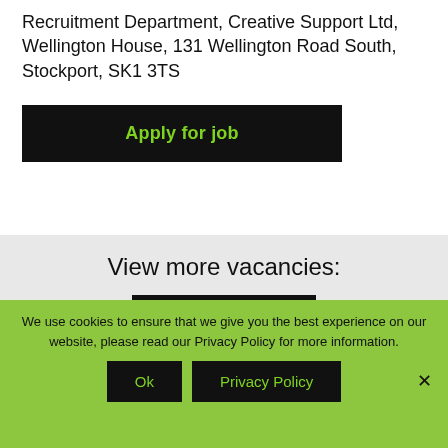Recruitment Department, Creative Support Ltd, Wellington House, 131 Wellington Road South, Stockport, SK1 3TS
[Figure (other): Black button with green text reading 'Apply for job']
View more vacancies:
[Figure (other): Black button with green text reading 'Stockport']
We use cookies to ensure that we give you the best experience on our website, please read our Privacy Policy for more information.
[Figure (other): Black button with green text reading 'Ok']
[Figure (other): Black button with green text reading 'Privacy Policy']